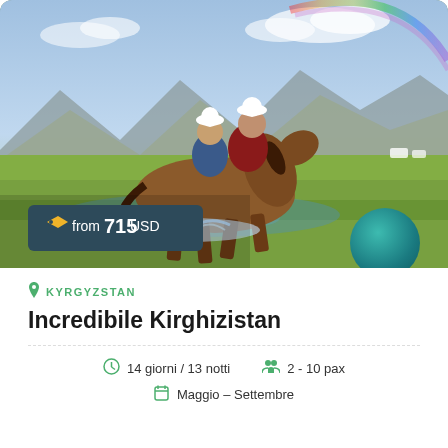[Figure (photo): Two horsemen in traditional Kyrgyz attire riding a horse through a stream/puddle on a green steppe, with mountains and a rainbow in the background. Price badge overlay reads 'from 715 USD'.]
KYRGYZSTAN
Incredibile Kirghizistan
14 giorni / 13 notti   2 - 10 pax   Maggio – Settembre